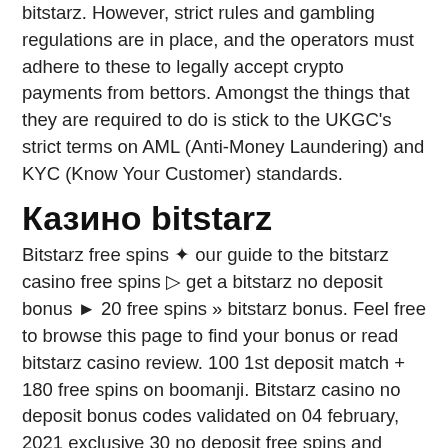bitstarz. However, strict rules and gambling regulations are in place, and the operators must adhere to these to legally accept crypto payments from bettors. Amongst the things that they are required to do is stick to the UKGC's strict terms on AML (Anti-Money Laundering) and KYC (Know Your Customer) standards.
Казино bitstarz
Bitstarz free spins ✦ our guide to the bitstarz casino free spins ▷ get a bitstarz no deposit bonus ► 20 free spins » bitstarz bonus. Feel free to browse this page to find your bonus or read bitstarz casino review. 100 1st deposit match + 180 free spins on boomanji. Bitstarz casino no deposit bonus codes validated on 04 february, 2021 exclusive 30 no deposit free spins and €500 match bonus + 180 extra spins. Bitstarz anmeldelse – få 20 gratis spins (ingen depositum